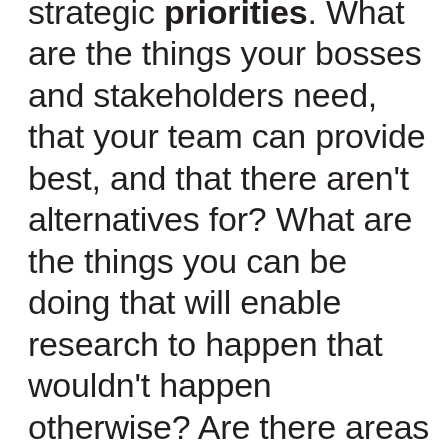strategic priorities. What are the things your bosses and stakeholders need, that your team can provide best, and that there aren't alternatives for? What are the things you can be doing that will enable research to happen that wouldn't happen otherwise? Are there areas that your team needs to grow - or grow in visibility - to open up the opportunities you see ahead? These are strategic goals, and it's difficult to make good decisions about what to take on